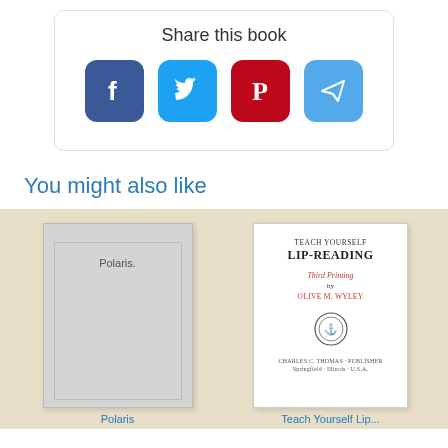Share this book
[Figure (infographic): Social sharing icons for Facebook, Twitter, Pinterest, and Telegram arranged in a row inside a rounded card]
You might also like
[Figure (illustration): Book cover placeholder for Polaris — grey cover with inner border and text 'Polaris.']
[Figure (illustration): Book cover for 'Teach Yourself Lip-Reading, Third Printing by Olive M. Wyley, Charles C. Thomas Publisher, Springfield Illinois USA' with publisher seal]
Polaris
Teach Yourself Lip...